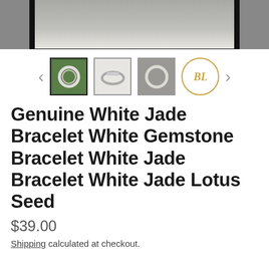[Figure (photo): Top portion of a product listing image showing a bracelet on a gray stone background with black frame border]
[Figure (photo): Thumbnail row with four thumbnails: first (active/selected) shows jade bracelet on green background, second shows bracelet on white fabric, third shows bracelet on stone, fourth is the BL brand logo in gold circle. Left and right navigation arrows on either side.]
Genuine White Jade Bracelet White Gemstone Bracelet White Jade Bracelet White Jade Lotus Seed
$39.00
Shipping calculated at checkout.